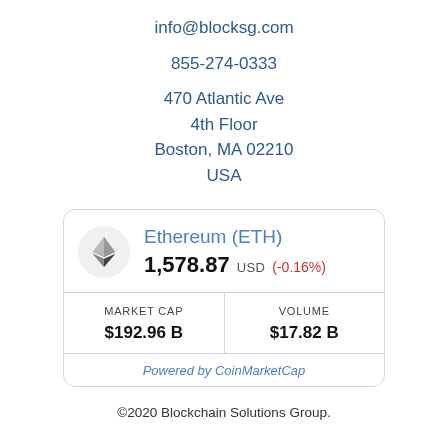info@blocksg.com
855-274-0333
470 Atlantic Ave
4th Floor
Boston, MA 02210
USA
| Ethereum (ETH) | 1,578.87 USD (-0.16%) |
| MARKET CAP $192.96 B | VOLUME $17.82 B |
| Powered by CoinMarketCap |  |
©2020 Blockchain Solutions Group.